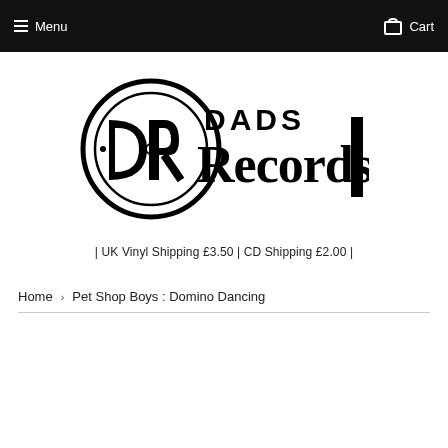Menu  Cart
[Figure (logo): Dads Records logo — circular DR monogram with vinyl record motif on the left, large stylized 'DADS Records' wordmark on the right, all in black]
| UK Vinyl Shipping £3.50 | CD Shipping £2.00 |
Home › Pet Shop Boys : Domino Dancing